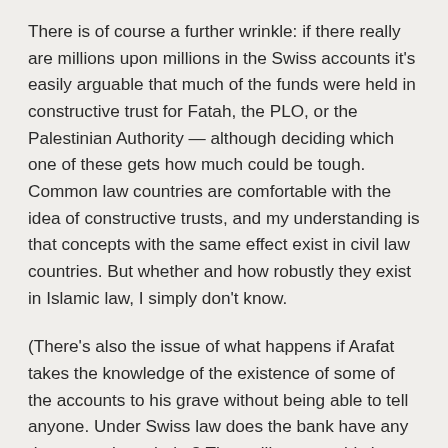There is of course a further wrinkle: if there really are millions upon millions in the Swiss accounts it's easily arguable that much of the funds were held in constructive trust for Fatah, the PLO, or the Palestinian Authority — although deciding which one of these gets how much could be tough. Common law countries are comfortable with the idea of constructive trusts, and my understanding is that concepts with the same effect exist in civil law countries. But whether and how robustly they exist in Islamic law, I simply don't know.
(There's also the issue of what happens if Arafat takes the knowledge of the existence of some of the accounts to his grave without being able to tell anyone. Under Swiss law does the bank have any duty to seek out heirs? They will presumably hear when he's dead, but if the account is fully anonymous they may not (officially)